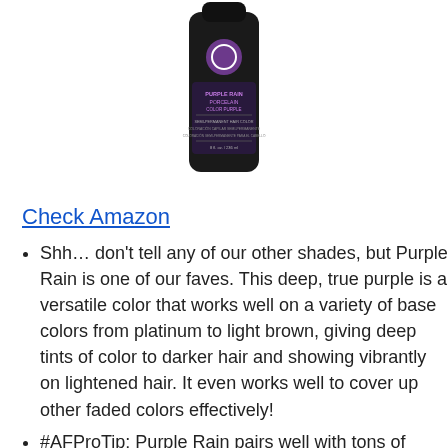[Figure (photo): Product photo of a dark bottle labeled 'Purple Rain Porcelain Color Purple Semi-Permanent Hair Color, 8 fl. oz. / 236 ml' with purple and white label design]
Check Amazon
Shh… don't tell any of our other shades, but Purple Rain is one of our faves. This deep, true purple is a versatile color that works well on a variety of base colors from platinum to light brown, giving deep tints of color to darker hair and showing vibrantly on lightened hair. It even works well to cover up other faded colors effectively!
#AFProTip: Purple Rain pairs well with tons of other AF shades; try mixing it with some Wrath for a burgundy, or Poseidon for a deep indigo...